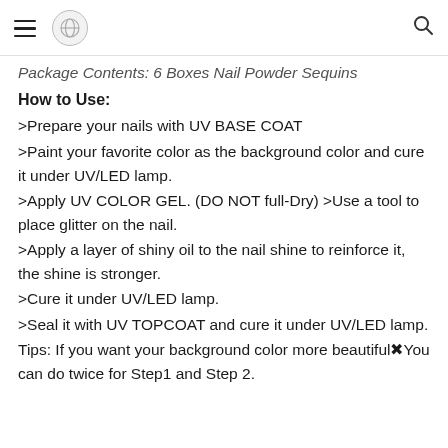Menu | Logo | Search
Package Contents: 6 Boxes Nail Powder Sequins
How to Use:
>Prepare your nails with UV BASE COAT
>Paint your favorite color as the background color and cure it under UV/LED lamp.
>Apply UV COLOR GEL. (DO NOT full-Dry) >Use a tool to place glitter on the nail.
>Apply a layer of shiny oil to the nail shine to reinforce it, the shine is stronger.
>Cure it under UV/LED lamp.
>Seal it with UV TOPCOAT and cure it under UV/LED lamp.
Tips: If you want your background color more beautiful※You can do twice for Step1 and Step 2.